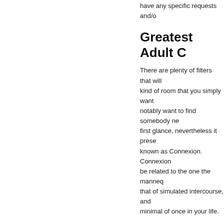have any specific requests and/o
Greatest Adult C
There are plenty of filters that will kind of room that you simply want notably want to find somebody ne first glance, nevertheless it prese known as Connexion. Connexion be related to the one the manneq that of simulated intercourse, and minimal of once in your life.
Cam Four Evaluate
She put her personal personal fee waste your time with Cam4 disco price. CAM4 might have had som appeared nice to me. Curious ho cam4.com is really free? We clari and cam4ultimate. We additionall like cam4 as nicely.